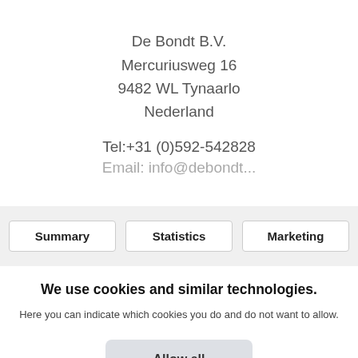De Bondt B.V.
Mercuriusweg 16
9482 WL Tynaarlo
Nederland
Tel:+31 (0)592-542828
Summary   Statistics   Marketing
We use cookies and similar technologies.
Here you can indicate which cookies you do and do not want to allow.
Allow all